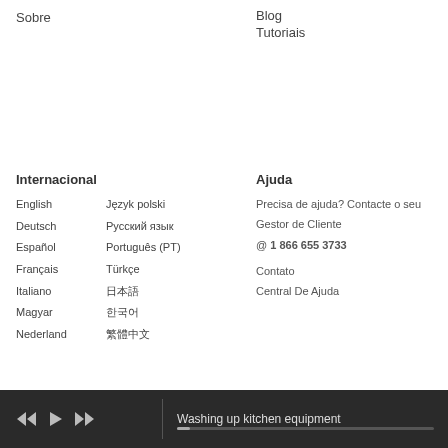Sobre
Blog
Tutoriais
Internacional
English
Język polski
Deutsch
Русский язык
Español
Português (PT)
Français
Türkçe
Italiano
日本語
Magyar
한국어
Nederland
繁體中文
Ajuda
Precisa de ajuda? Contacte o seu Gestor de Cliente
@ 1 866 655 3733
Contato
Central De Ajuda
Washing up kitchen equipment